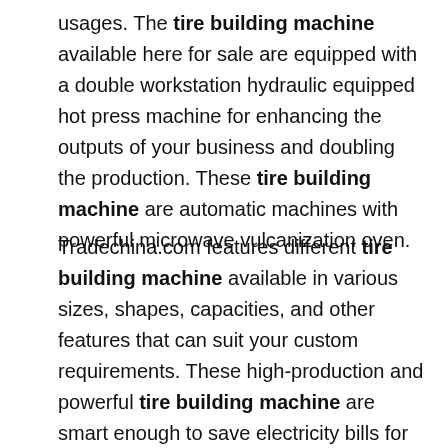usages. The tire building machine available here for sale are equipped with a double workstation hydraulic equipped hot press machine for enhancing the outputs of your business and doubling the production. These tire building machine are automatic machines with powerful microwave vulcanization oven.
Tradechina.com features different tire building machine available in various sizes, shapes, capacities, and other features that can suit your custom requirements. These high-production and powerful tire building machine are smart enough to save electricity bills for you and do not consume excess energy. These tire building machine come with distinct voltage requirements and frequencies to conduct heavy-duty rubber production business. These...